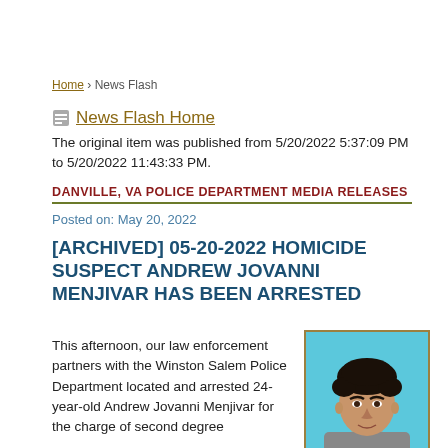Home › News Flash
News Flash Home
The original item was published from 5/20/2022 5:37:09 PM to 5/20/2022 11:43:33 PM.
DANVILLE, VA POLICE DEPARTMENT MEDIA RELEASES
Posted on: May 20, 2022
[ARCHIVED] 05-20-2022 HOMICIDE SUSPECT ANDREW JOVANNI MENJIVAR HAS BEEN ARRESTED
This afternoon, our law enforcement partners with the Winston Salem Police Department located and arrested 24-year-old Andrew Jovanni Menjivar for the charge of second degree
[Figure (photo): Mugshot photo of suspect Andrew Jovanni Menjivar, a young man with dark curly hair against a blue background]